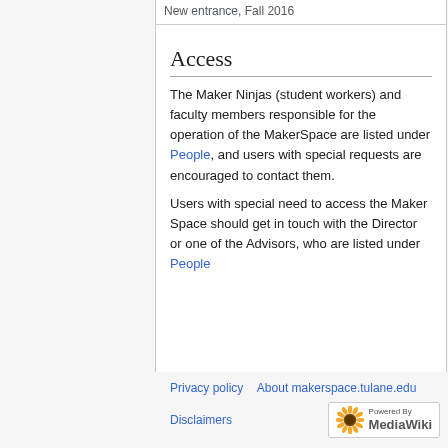New entrance, Fall 2016
Access
The Maker Ninjas (student workers) and faculty members responsible for the operation of the MakerSpace are listed under People, and users with special requests are encouraged to contact them.
Users with special need to access the Maker Space should get in touch with the Director or one of the Advisors, who are listed under People
Privacy policy   About makerspace.tulane.edu   Disclaimers   Powered by MediaWiki